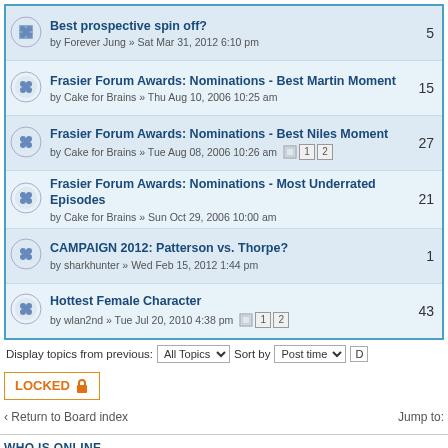Best prospective spin off? by Forever Jung » Sat Mar 31, 2012 6:10 pm | 5
Frasier Forum Awards: Nominations - Best Martin Moment by Cake for Brains » Thu Aug 10, 2006 10:25 am | 15
Frasier Forum Awards: Nominations - Best Niles Moment by Cake for Brains » Tue Aug 08, 2006 10:26 am | 27
Frasier Forum Awards: Nominations - Most Underrated Episodes by Cake for Brains » Sun Oct 29, 2006 10:00 am | 21
CAMPAIGN 2012: Patterson vs. Thorpe? by sharkhunter » Wed Feb 15, 2012 1:44 pm | 1
Hottest Female Character by wlan2nd » Tue Jul 20, 2010 4:38 pm | 43
Display topics from previous: All Topics Sort by Post time
LOCKED
Return to Board index
Jump to:
WHO IS ONLINE
Users browsing this forum: No registered users and 6 guests